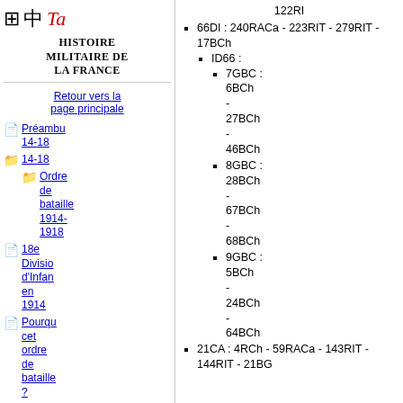[Figure (logo): Website logo with grid symbol, kanji character, and red italic Ta text]
Histoire militaire de la France
Retour vers la page principale
Préambu 14-18
Ordre de bataille 1914-1918
18e Division d'Infan en 1914
Pourqu cet ordre de bataille ?
Histoire des
122RI
66DI : 240RACa - 223RIT - 279RIT - 17BCh
ID66 :
7GBC : 6BCh - 27BCh - 46BCh
8GBC : 28BCh - 67BCh - 68BCh
9GBC : 5BCh - 24BCh - 64BCh
21CA : 4RCh - 59RACa - 143RIT - 144RIT - 21BG